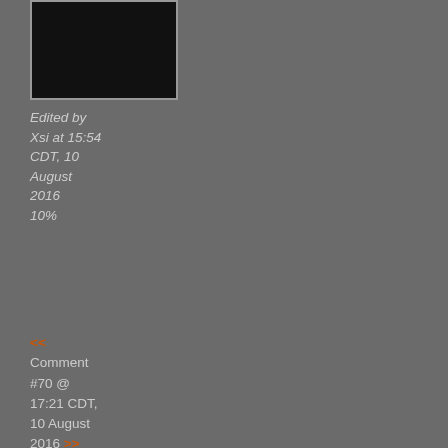[Figure (photo): Dark/black avatar image in a bordered box]
Edited by Xsi at 15:54 CDT, 10 August 2016
10%
<< Comment #70 @ 17:21 CDT, 10 August 2016 >>
(Link, Reply)
By [flag] dizzle

Sarge, hits that blunt you to deapts =]
<< Comment #71 @